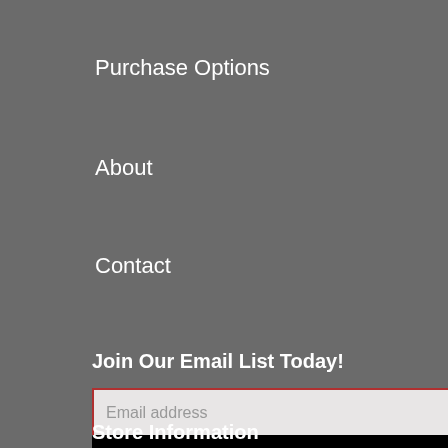Purchase Options
About
Contact
Join Our Email List Today!
Email address
SUBSCRIBE
Store Information